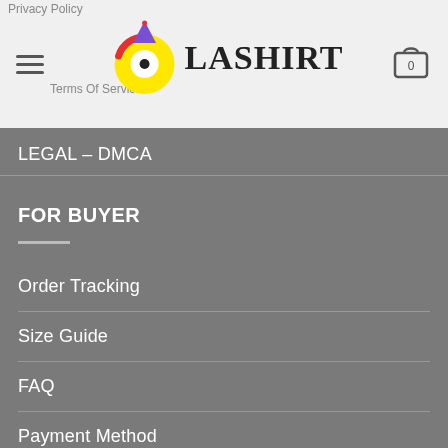Privacy Policy
Terms Of Service
[Figure (logo): OlaShirt logo with yellow circle and party hat, next to bold text LASHIRT]
[Figure (other): Shopping cart icon with number 0]
LEGAL – DMCA
FOR BUYER
Order Tracking
Size Guide
FAQ
Payment Method
Returns & exchanges
Refund Policies